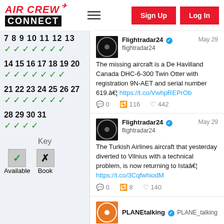AIR CREW CONNECT — Sign Up | Log In
[Figure (screenshot): Left panel availability calendar grid with numbers 7-31 and green checkmarks, plus a key showing Available (checkmark) and Booked (cross)]
Flightradar24 ✓ flightradar24 — May 29
The missing aircraft is a De Havilland Canada DHC-6-300 Twin Otter with registration 9N-AET and serial number 619.â€¦ https://t.co/VwhpREPrOb
0  116  442
Flightradar24 ✓ flightradar24 — May 29
The Turkish Airlines aircraft that yesterday diverted to Vilnius with a technical problem, is now returning to Istaâ€¦ https://t.co/3CqfwhiodM
0  8  140
PLANEtalking ✓ PLANE_talking